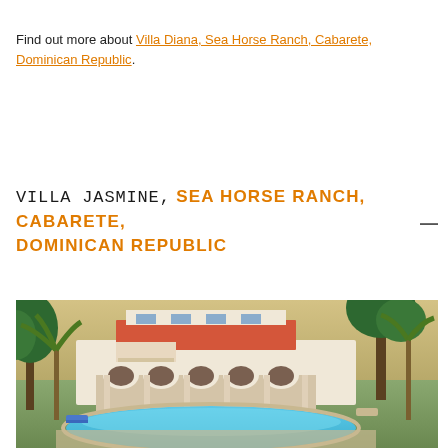Find out more about Villa Diana, Sea Horse Ranch, Cabarete, Dominican Republic.
VILLA JASMINE, SEA HORSE RANCH, CABARETE, DOMINICAN REPUBLIC
[Figure (photo): Exterior photo of Villa Jasmine at Sea Horse Ranch, Cabarete, Dominican Republic. Shows a large white Spanish-style villa with arched colonnades, surrounded by lush tropical palm trees and greenery. In the foreground is a large oval swimming pool with bright blue water. The sky is warm and golden.]